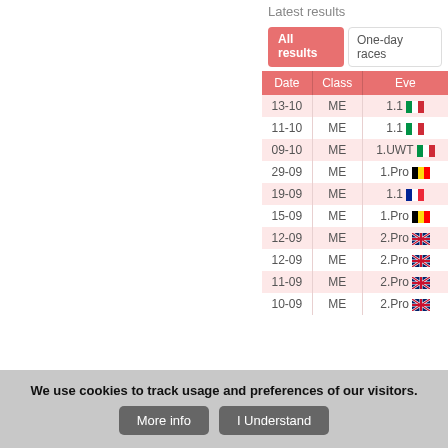Latest results
| Date | Class | Even(t) |
| --- | --- | --- |
| 13-10 | ME | 1.1 |
| 11-10 | ME | 1.1 |
| 09-10 | ME | 1.UWT |
| 29-09 | ME | 1.Pro |
| 19-09 | ME | 1.1 |
| 15-09 | ME | 1.Pro |
| 12-09 | ME | 2.Pro |
| 12-09 | ME | 2.Pro |
| 11-09 | ME | 2.Pro |
| 10-09 | ME | 2.Pro |
Race statistics per catego(ry)
We use cookies to track usage and preferences of our visitors.